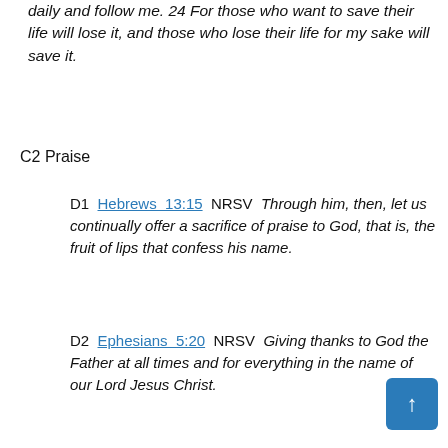daily and follow me. 24 For those who want to save their life will lose it, and those who lose their life for my sake will save it.
C2 Praise
D1 Hebrews 13:15 NRSV Through him, then, let us continually offer a sacrifice of praise to God, that is, the fruit of lips that confess his name.
D2 Ephesians 5:20 NRSV Giving thanks to God the Father at all times and for everything in the name of our Lord Jesus Christ.